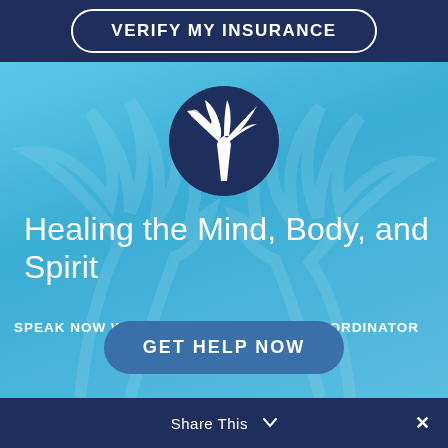VERIFY MY INSURANCE
[Figure (logo): Circular dark blue logo with white palm tree icon]
Healing the Mind, Body, and Spirit
SPEAK NOW WITH A LIVE ADMISSIONS COORDINATOR
GET HELP NOW
Share This ∨
×